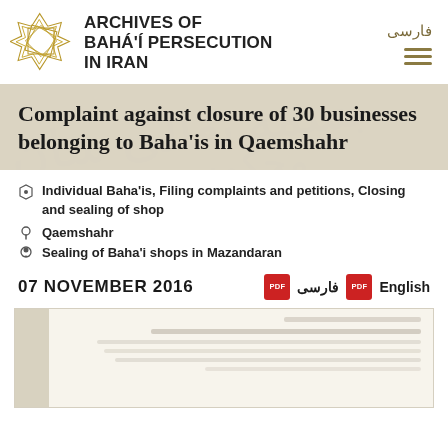ARCHIVES OF BAHÁ'Í PERSECUTION IN IRAN
Complaint against closure of 30 businesses belonging to Baha'is in Qaemshahr
Individual Baha'is, Filing complaints and petitions, Closing and sealing of shop
Qaemshahr
Sealing of Baha'i shops in Mazandaran
07 NOVEMBER 2016
فارسی  English
[Figure (photo): Scanned handwritten Persian document with multiple lines of Farsi script text]